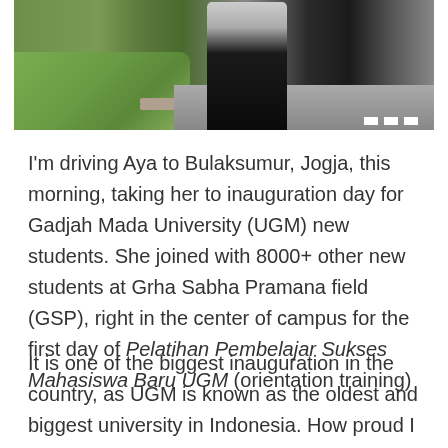[Figure (photo): A photo showing a person wearing dark clothing walking on a road or pavement, with grass and a curb visible on the left side and a pedestrian crossing stripe visible on the right lower area.]
I'm driving Aya to Bulaksumur, Jogja, this morning, taking her to inauguration day for Gadjah Mada University (UGM) new students. She joined with 8000+ other new students at Grha Sabha Pramana field (GSP), right in the center of campus for the first day of Pelatihan Pembelajar Sukses Mahasiswa Baru UGM (orientation training)
It is one of the biggest inauguration in the country, as UGM is known as the oldest and biggest university in Indonesia. How proud I am to see my daughter, wearing UGM jacket and soon will share the same